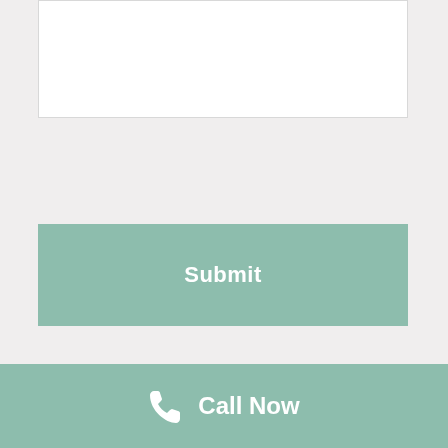[Figure (other): White text input/textarea box at top of page]
Submit
Address
3401 US-89 Bountiful UT 84010, USA
Phone
Call Now